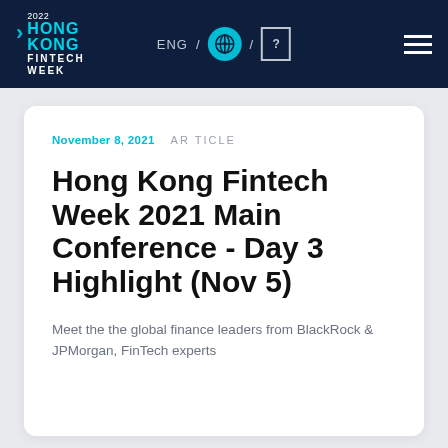2022 HONG KONG FINTECH WEEK — ENG / [globe] / [?] — [menu]
November 8, 2021   ARTICLE
Hong Kong Fintech Week 2021 Main Conference - Day 3 Highlight (Nov 5)
Meet the the global finance leaders from BlackRock & JPMorgan, FinTech experts